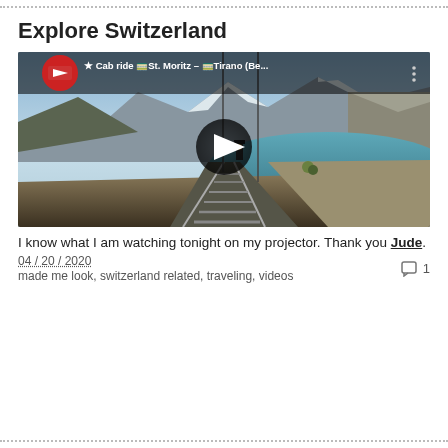Explore Switzerland
[Figure (screenshot): YouTube video thumbnail showing a cab ride from St. Moritz to Tirano, with railway tracks leading toward a mountain lake and snow-capped peaks. Overlaid play button in center. Title bar reads: ★ Cab ride St. Moritz - Tirano (Be...]
I know what I am watching tonight on my projector. Thank you Jude.
04 / 20 / 2020
made me look, switzerland related, traveling, videos